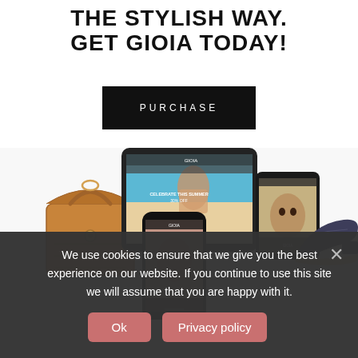THE STYLISH WAY. GET GIOIA TODAY!
PURCHASE
[Figure (photo): A promotional image showing a handbag, shoes, and multiple digital devices (tablet, phone, small tablet) displaying the GIOIA fashion website with a summer promotion.]
We use cookies to ensure that we give you the best experience on our website. If you continue to use this site we will assume that you are happy with it.
Ok
Privacy policy